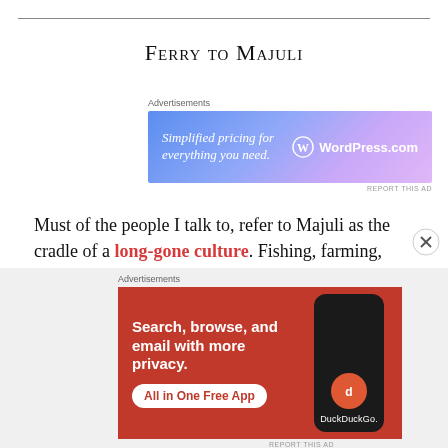Ferry to Majuli
[Figure (other): WordPress.com advertisement banner: 'Simplified pricing for everything you need.' with WordPress logo]
Must of the people I talk to, refer to Majuli as the cradle of a long-gone culture. Fishing, farming, dairy, weaving, mask-making, devotional dances, idyllic pollution-free life—my mind built up images of a heavenly abode. But Majuli is a down-to-earth
[Figure (other): DuckDuckGo advertisement banner: 'Search, browse, and email with more privacy. All in One Free App' with DuckDuckGo logo and phone mockup]